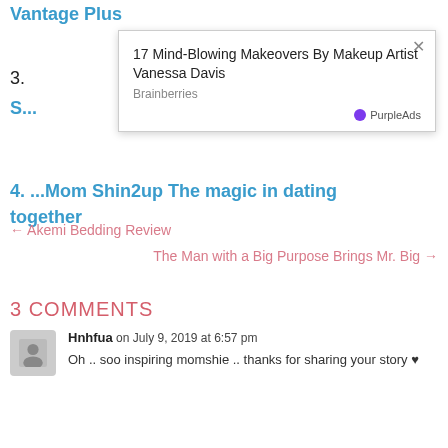Vantage Plus
[Figure (other): Ad overlay popup: '17 Mind-Blowing Makeovers By Makeup Artist Vanessa Davis' from Brainberries, with PurpleAds badge and close button]
3.
S...
4. Mom Shin2up The magic in dating together
← Akemi Bedding Review
The Man with a Big Purpose Brings Mr. Big →
3 COMMENTS
Hnhfua on July 9, 2019 at 6:57 pm
Oh .. soo inspiring momshie .. thanks for sharing your story ♥